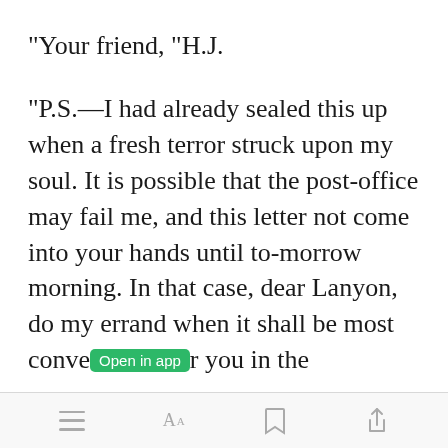"Your friend, "H.J.
"P.S.—I had already sealed this up when a fresh terror struck upon my soul. It is possible that the post-office may fail me, and this letter not come into your hands until to-morrow morning. In that case, dear Lanyon, do my errand when it shall be most convenient you in the
toolbar with menu, font size, bookmark, and share icons